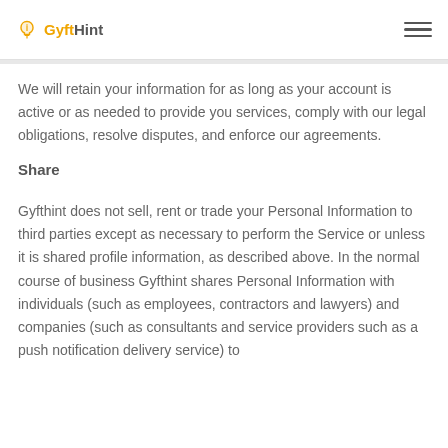GyftHint
We will retain your information for as long as your account is active or as needed to provide you services, comply with our legal obligations, resolve disputes, and enforce our agreements.
Share
Gyfthint does not sell, rent or trade your Personal Information to third parties except as necessary to perform the Service or unless it is shared profile information, as described above. In the normal course of business Gyfthint shares Personal Information with individuals (such as employees, contractors and lawyers) and companies (such as consultants and service providers such as a push notification delivery service) to